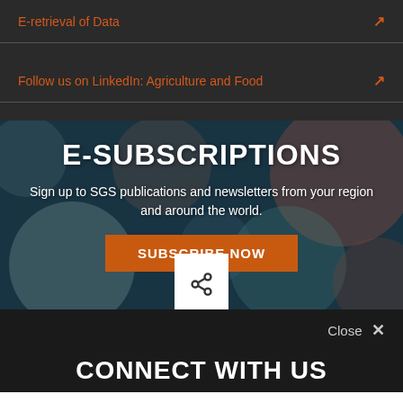E-retrieval of Data ↗
Follow us on LinkedIn: Agriculture and Food ↗
E-SUBSCRIPTIONS
Sign up to SGS publications and newsletters from your region and around the world.
SUBSCRIBE NOW
[Figure (other): Share icon button (white box with share symbol)]
Close ✕
CONNECT WITH US